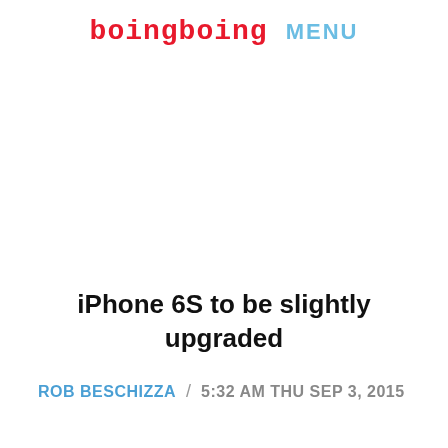boingboing MENU
iPhone 6S to be slightly upgraded
ROB BESCHIZZA / 5:32 AM THU SEP 3, 2015